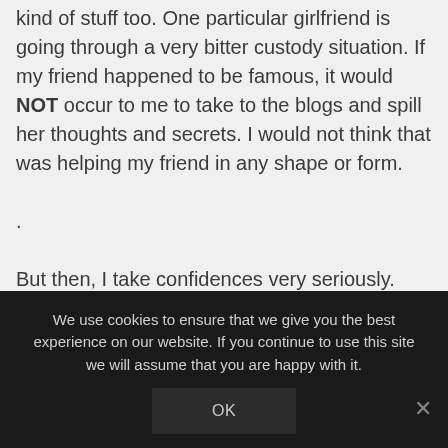kind of stuff too. One particular girlfriend is going through a very bitter custody situation. If my friend happened to be famous, it would NOT occur to me to take to the blogs and spill her thoughts and secrets. I would not think that was helping my friend in any shape or form.

.

But then, I take confidences very seriously. Things have been told to me that I would never share with anyone. I think that is what most of us (apparently not all) consider to be the mark of a real friend.
We use cookies to ensure that we give you the best experience on our website. If you continue to use this site we will assume that you are happy with it.
OK